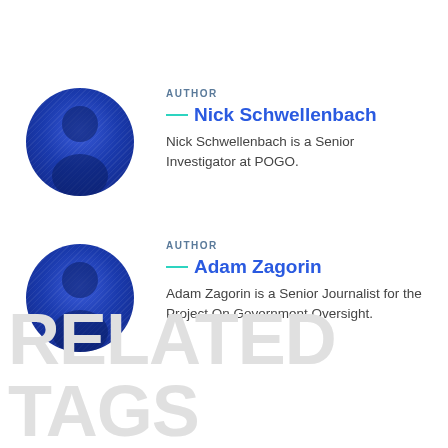AUTHOR
[Figure (illustration): Circular avatar placeholder with blue gradient and person silhouette for Nick Schwellenbach]
Nick Schwellenbach
Nick Schwellenbach is a Senior Investigator at POGO.
AUTHOR
[Figure (illustration): Circular avatar placeholder with blue gradient and person silhouette for Adam Zagorin]
Adam Zagorin
Adam Zagorin is a Senior Journalist for the Project On Government Oversight.
RELATED TAGS